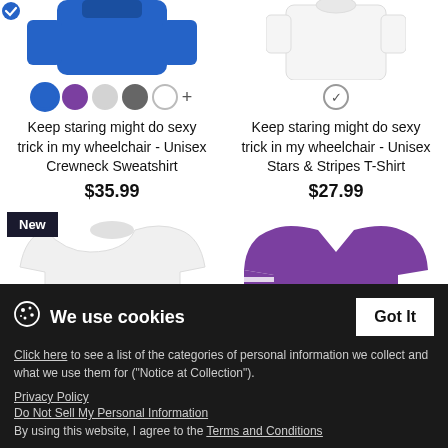[Figure (photo): Blue crewneck sweatshirt product image (top cropped)]
[Figure (photo): White Stars & Stripes T-shirt product image (top cropped)]
Keep staring might do sexy trick in my wheelchair - Unisex Crewneck Sweatshirt
$35.99
Keep staring might do sexy trick in my wheelchair - Unisex Stars & Stripes T-Shirt
$27.99
[Figure (photo): White t-shirt with text KEEP STARING I MIGHT DO A TRICK, with New badge]
[Figure (photo): Purple v-neck t-shirt with striped sleeves and text KEEP STARING I MIGHT DO A TRICK]
We use cookies
Click here to see a list of the categories of personal information we collect and what we use them for ("Notice at Collection").
Privacy Policy
Do Not Sell My Personal Information
By using this website, I agree to the Terms and Conditions
Keep staring might do sexy trick in my wheelchair - Men's
Keep staring might do sexy trick in my wheelchair -